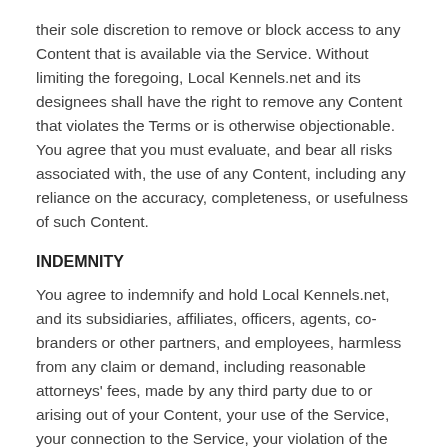their sole discretion to remove or block access to any Content that is available via the Service. Without limiting the foregoing, Local Kennels.net and its designees shall have the right to remove any Content that violates the Terms or is otherwise objectionable. You agree that you must evaluate, and bear all risks associated with, the use of any Content, including any reliance on the accuracy, completeness, or usefulness of such Content.
INDEMNITY
You agree to indemnify and hold Local Kennels.net, and its subsidiaries, affiliates, officers, agents, co-branders or other partners, and employees, harmless from any claim or demand, including reasonable attorneys' fees, made by any third party due to or arising out of your Content, your use of the Service, your connection to the Service, your violation of the Terms, or your violation of any rights of another.